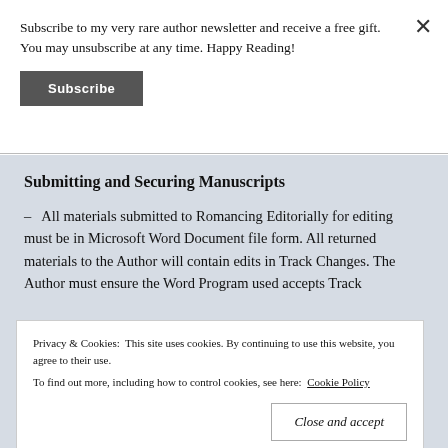Subscribe to my very rare author newsletter and receive a free gift. You may unsubscribe at any time. Happy Reading!
Subscribe
Submitting and Securing Manuscripts
– All materials submitted to Romancing Editorially for editing must be in Microsoft Word Document file form. All returned materials to the Author will contain edits in Track Changes. The Author must ensure the Word Program used accepts Track
Privacy & Cookies: This site uses cookies. By continuing to use this website, you agree to their use.
To find out more, including how to control cookies, see here: Cookie Policy
Close and accept
agreement, which states the final cost and payment